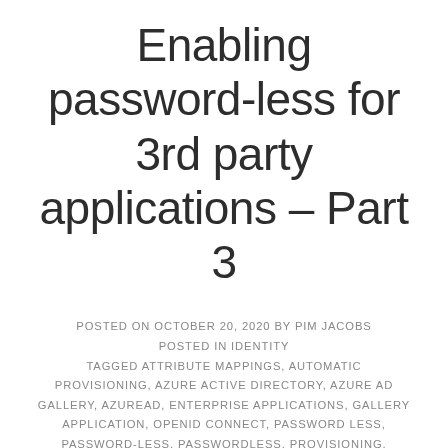Enabling password-less for 3rd party applications – Part 3
POSTED ON OCTOBER 20, 2020 BY PIM JACOBS POSTED IN IDENTITY TAGGED ATTRIBUTE MAPPINGS, AUTOMATIC PROVISIONING, AZURE ACTIVE DIRECTORY, AZURE AD GALLERY, AZUREAD, ENTERPRISE APPLICATIONS, GALLERY APPLICATION, OPENID CONNECT, PASSWORD LESS, PASSWORD-LESS, PASSWORDLESS, PROVISIONING, PROVISIONING SERVICES, SAML, SCIM, SLACK